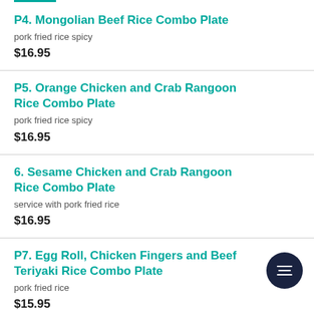P4. Mongolian Beef Rice Combo Plate
pork fried rice spicy
$16.95
P5. Orange Chicken and Crab Rangoon Rice Combo Plate
pork fried rice spicy
$16.95
6. Sesame Chicken and Crab Rangoon Rice Combo Plate
service with pork fried rice
$16.95
P7. Egg Roll, Chicken Fingers and Beef Teriyaki Rice Combo Plate
pork fried rice
$15.95